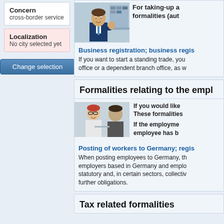Concern
cross-border service
Localization
No city selected yet
Change selection
For taking-up a formalities (aut
[Figure (photo): Photo of a businessman in suit giving thumbs up in an office]
Business registration; business regis
If you want to start a standing trade, you office or a dependent branch office, as w
Formalities relating to the empl
[Figure (photo): Photo of two people in a meeting, one with red hair and glasses]
If you would like These formalities If the employment employee has b
Posting of workers to Germany; regis
When posting employees to Germany, th employers based in Germany and emplo statutory and, in certain sectors, collectiv further obligations.
Tax related formalities